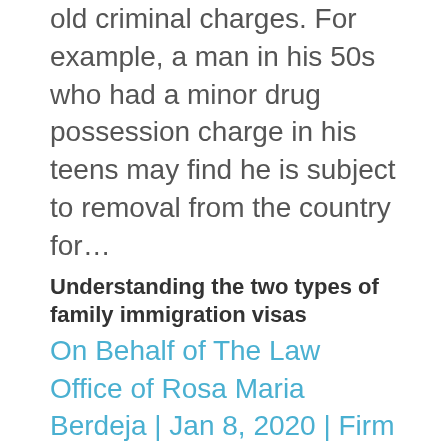old criminal charges. For example, a man in his 50s who had a minor drug possession charge in his teens may find he is subject to removal from the country for…
Understanding the two types of family immigration visas
On Behalf of The Law Office of Rosa Maria Berdeja | Jan 8, 2020 | Firm News
No matter where you come from originally, families belong together. If you are a U.S. citizen or a Lawful Permanent Resident, you may be able to bring family members still living abroad to live alongside you in the United States. U.S. immigration law specifically...